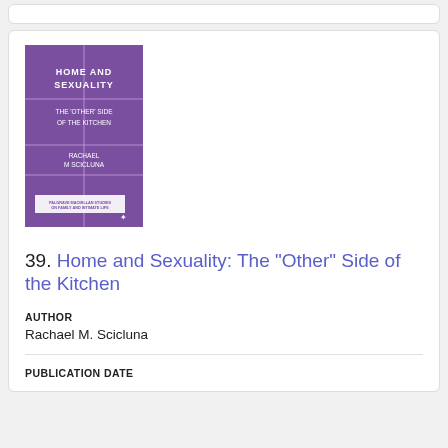[Figure (illustration): Book cover for 'Home and Sexuality: The Other Side of the Kitchen' by Rachael M. Scicluna, published by Palgrave Macmillan Studies on Family and Intimate Life. Purple cover with geometric line design.]
39. Home and Sexuality: The "Other" Side of the Kitchen
AUTHOR
Rachael M. Scicluna
PUBLICATION DATE